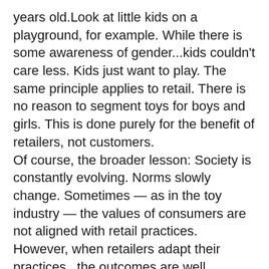years old.Look at little kids on a playground, for example. While there is some awareness of gender...kids couldn't care less. Kids just want to play. The same principle applies to retail. There is no reason to segment toys for boys and girls. This is done purely for the benefit of retailers, not customers.
Of course, the broader lesson: Society is constantly evolving. Norms slowly change. Sometimes — as in the toy industry — the values of consumers are not aligned with retail practices. However, when retailers adapt their practices...the outcomes are well received. For example, companies like Amazon and Target have received positive public relations benefits (i.e. free advertising) by focusing on gender neutrality in their toy marketing.
The lesson for entrepreneurs in other industries: Go where the market goes. Think of it this way: If the market is constantly evolving; and your business stays the same; how long will it be before your company is totally